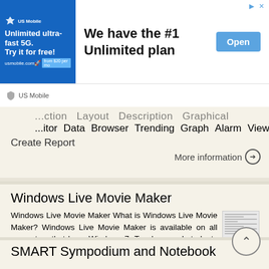[Figure (screenshot): Advertisement banner for US Mobile showing 'Unlimited ultra-fast 5G. Try it for free! usmobile.com from $20 per line' with blue background and logo on left, 'We have the #1 Unlimited plan' text in center, and 'Open' button on right. US Mobile branding below.]
...ction  Layout  Description  Graphical
...itor  Data  Browser  Trending  Graph  Alarm  View
Create Report
More information →
Windows Live Movie Maker
Windows Live Movie Maker What is Windows Live Movie Maker? Windows Live Movie Maker is available on all computers that have Windows 7. Teachers and students use Windows Live Movie Maker to turn videos
More information →
SMART Sympodium and Notebook